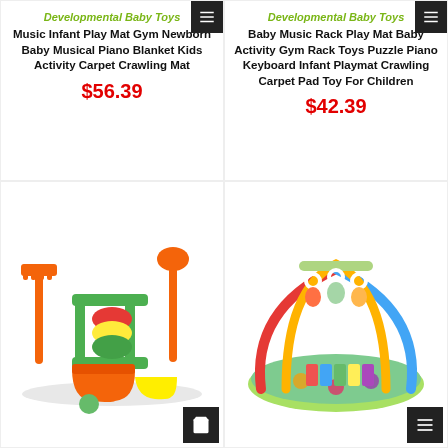Developmental Baby Toys
Music Infant Play Mat Gym Newborn Baby Musical Piano Blanket Kids Activity Carpet Crawling Mat
$56.39
Developmental Baby Toys
Baby Music Rack Play Mat Baby Activity Gym Rack Toys Puzzle Piano Keyboard Infant Playmat Crawling Carpet Pad Toy For Children
$42.39
[Figure (photo): Colorful beach toy set with shovels, rake, spinner, bucket, and mold toys in orange, green, and yellow]
[Figure (photo): Baby play gym mat with rainbow arches, hanging toys, and piano keyboard, in blue/green colors]